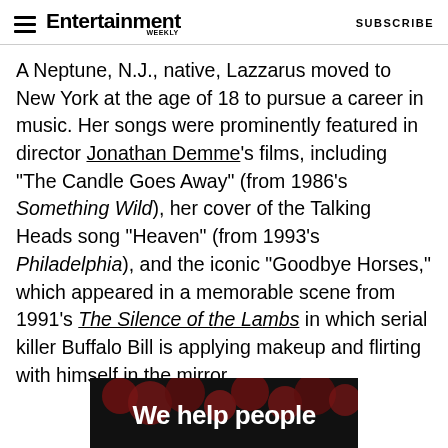Entertainment Weekly — SUBSCRIBE
A Neptune, N.J., native, Lazzarus moved to New York at the age of 18 to pursue a career in music. Her songs were prominently featured in director Jonathan Demme's films, including "The Candle Goes Away" (from 1986's Something Wild), her cover of the Talking Heads song "Heaven" (from 1993's Philadelphia), and the iconic "Goodbye Horses," which appeared in a memorable scene from 1991's The Silence of the Lambs in which serial killer Buffalo Bill is applying makeup and flirting with himself in the mirror.
[Figure (screenshot): Ad banner showing dark background with red bokeh dots and white bold text reading 'We help people']